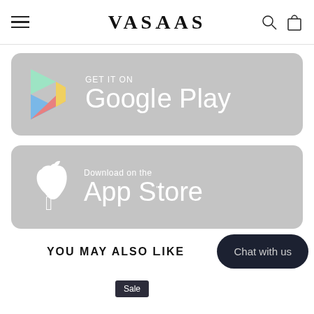VASAAS
[Figure (screenshot): GET IT ON Google Play badge with colorful Play Store triangle logo on grey rounded rectangle background]
[Figure (screenshot): Download on the App Store badge with white Apple logo on grey rounded rectangle background]
YOU MAY ALSO LIKE
Chat with us
Sale